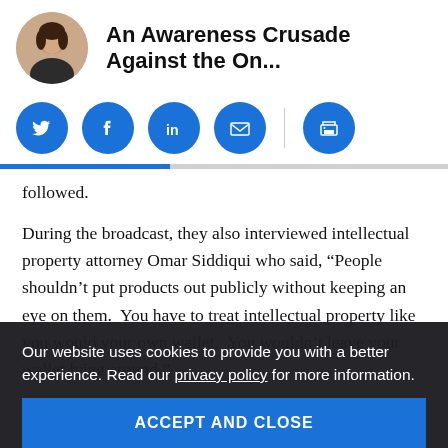An Awareness Crusade Against the On...
[Figure (illustration): Social sharing buttons: Twitter, Facebook, LinkedIn, Email, Print]
followed.
During the broadcast, they also interviewed intellectual property attorney Omar Siddiqui who said, “People shouldn’t put products out publicly without keeping an eye on them.  You have to treat intellectual property like you would your own wallet.  You wouldn’t leave your wallet lying around.”
After the piece aired, an article and video was also [posted/published and the] spot reached Google News, and features ran across the country and around the world.  Over 60 mentions
Our website uses cookies to provide you with a better experience. Read our privacy policy for more information.
ACCEPT AND CLOSE